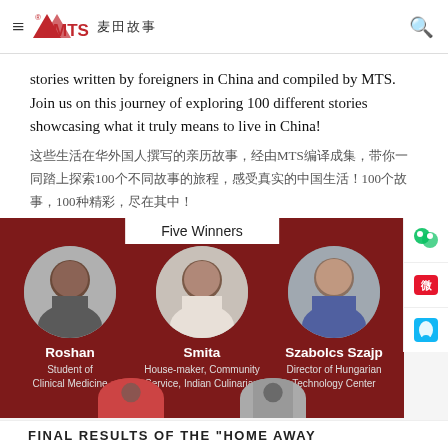MTS [Chinese characters]
stories written by foreigners in China and compiled by MTS. Join us on this journey of exploring 100 different stories showcasing what it truly means to live in China! [Chinese text about 100 stories]
[Figure (infographic): Five Winners infographic on dark red background showing three circular portrait photos of winners: Roshan (Student of Clinical Medicine), Smita (House-maker, Community Service, Indian Culinarian), Szabolcs Szajp (Director of Hungarian Technology Center), with partial views of two more winners at the bottom.]
FINAL RESULTS OF THE "HOME AWAY..."